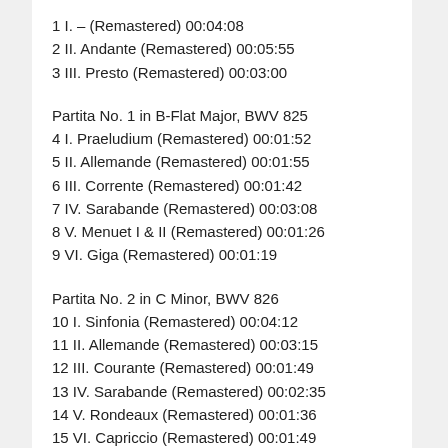1 I. – (Remastered) 00:04:08
2 II. Andante (Remastered) 00:05:55
3 III. Presto (Remastered) 00:03:00
Partita No. 1 in B-Flat Major, BWV 825
4 I. Praeludium (Remastered) 00:01:52
5 II. Allemande (Remastered) 00:01:55
6 III. Corrente (Remastered) 00:01:42
7 IV. Sarabande (Remastered) 00:03:08
8 V. Menuet I & II (Remastered) 00:01:26
9 VI. Giga (Remastered) 00:01:19
Partita No. 2 in C Minor, BWV 826
10 I. Sinfonia (Remastered) 00:04:12
11 II. Allemande (Remastered) 00:03:15
12 III. Courante (Remastered) 00:01:49
13 IV. Sarabande (Remastered) 00:02:35
14 V. Rondeaux (Remastered) 00:01:36
15 VI. Capriccio (Remastered) 00:01:49